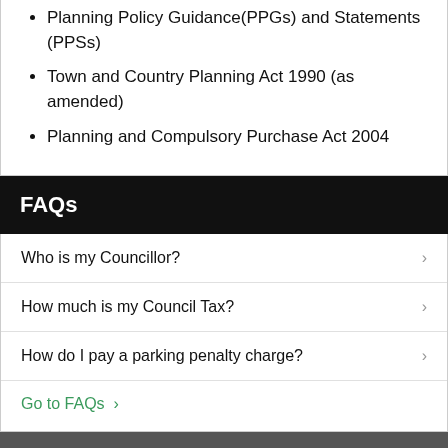Planning Policy Guidance(PPGs) and Statements (PPSs)
Town and Country Planning Act 1990 (as amended)
Planning and Compulsory Purchase Act 2004
FAQs
Who is my Councillor?
How much is my Council Tax?
How do I pay a parking penalty charge?
Go to FAQs >
Quick links